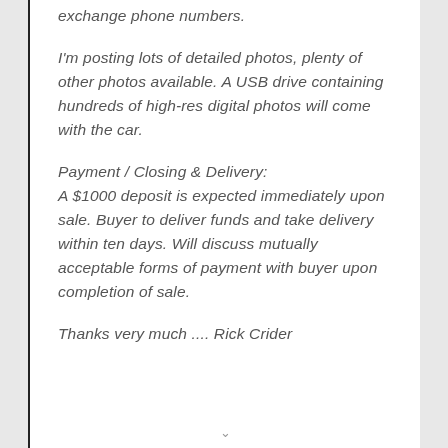exchange phone numbers.
I'm posting lots of detailed photos, plenty of other photos available. A USB drive containing hundreds of high-res digital photos will come with the car.
Payment / Closing & Delivery:
A $1000 deposit is expected immediately upon sale. Buyer to deliver funds and take delivery within ten days. Will discuss mutually acceptable forms of payment with buyer upon completion of sale.
Thanks very much .... Rick Crider